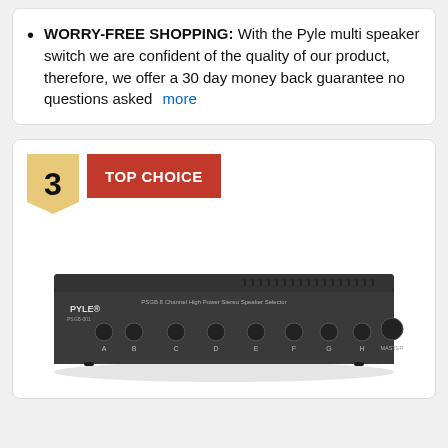WORRY-FREE SHOPPING: With the Pyle multi speaker switch we are confident of the quality of our product, therefore, we offer a 30 day money back guarantee no questions asked  more
3  TOP CHOICE
[Figure (photo): Photo of a Pyle PSGB 8-channel high power stereo speaker selector/switcher device, black rectangular unit with multiple labeled knobs on the front panel (A through H) and a master volume knob.]